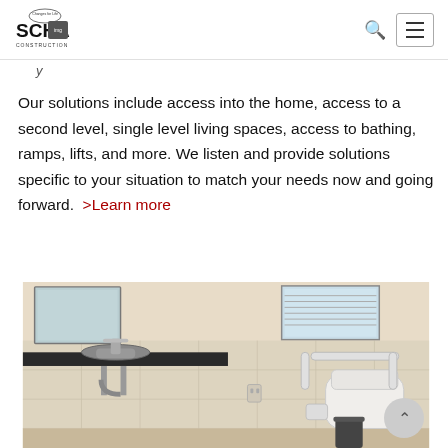Schaefer Construction logo, search icon, menu button
Our solutions include access into the home, access to a second level, single level living spaces, access to bathing, ramps, lifts, and more. We listen and provide solutions specific to your situation to match your needs now and going forward. >Learn more
[Figure (photo): Accessible bathroom showing a wall-mounted sink with exposed plumbing and a dark counter, tiled walls in beige, a window with blinds, and a toilet with white grab bars on the right side. A trash can and toilet paper holder are visible on the floor.]